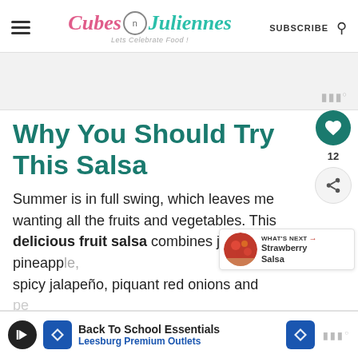Cubes n Juliennes — Let's Celebrate Food! — SUBSCRIBE
[Figure (logo): Cubes N Juliennes logo with pink cursive 'Cubes', teal cursive 'Juliennes', magnifying glass icon, and tagline 'Let's Celebrate Food!']
[Figure (other): Advertisement banner area with gray background and Mediavine dots watermark]
Why You Should Try This Salsa
Summer is in full swing, which leaves me wanting all the fruits and vegetables. This delicious fruit salsa combines juicy, sweet pineapp... spicy jalapeño, piquant red onions and pe...
[Figure (other): What's Next widget showing Strawberry Salsa with a red bowl image]
[Figure (other): Bottom advertisement banner: Back To School Essentials - Leesburg Premium Outlets]